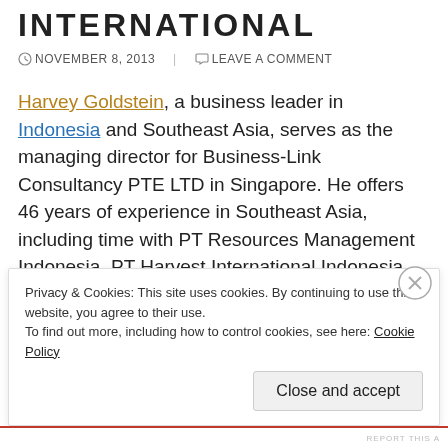INTERNATIONAL
NOVEMBER 8, 2013   LEAVE A COMMENT
Harvey Goldstein, a business leader in Indonesia and Southeast Asia, serves as the managing director for Business-Link Consultancy PTE LTD in Singapore. He offers 46 years of experience in Southeast Asia, including time with PT Resources Management Indonesia, PT Harvest International Indonesia, and Resources Management International, Inc. As an Indonesian business expert, Harvey Goldstein has also served in a number of educational positi
Privacy & Cookies: This site uses cookies. By continuing to use this website, you agree to their use.
To find out more, including how to control cookies, see here: Cookie Policy
Close and accept